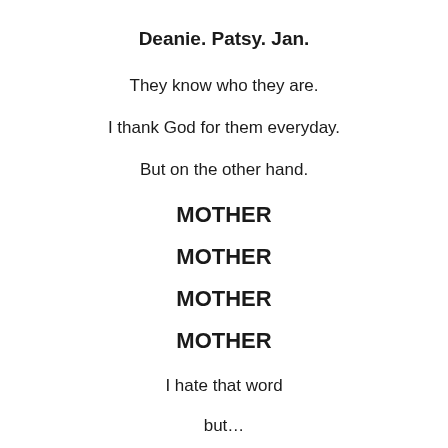Deanie. Patsy. Jan.
They know who they are.
I thank God for them everyday.
But on the other hand.
MOTHER
MOTHER
MOTHER
MOTHER
I hate that word
but…